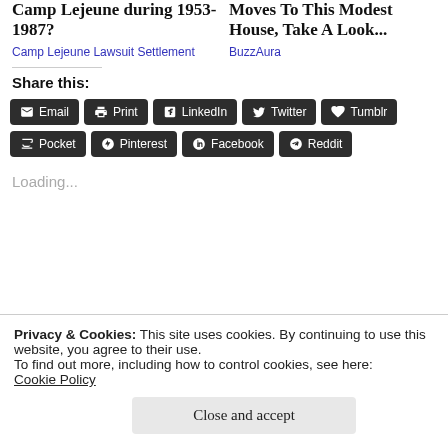Camp Lejeune during 1953-1987?
Camp Lejeune Lawsuit Settlement
Moves To This Modest House, Take A Look...
BuzzAura
Share this:
Email
Print
LinkedIn
Twitter
Tumblr
Pocket
Pinterest
Facebook
Reddit
Loading...
Privacy & Cookies: This site uses cookies. By continuing to use this website, you agree to their use.
To find out more, including how to control cookies, see here: Cookie Policy
Close and accept